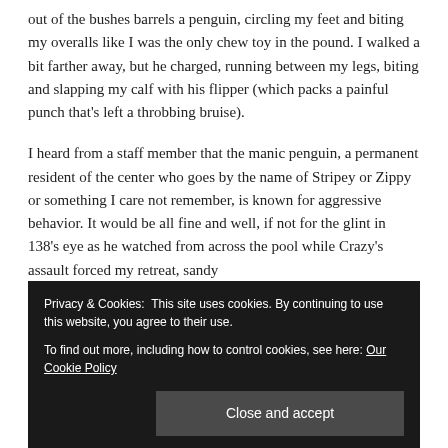out of the bushes barrels a penguin, circling my feet and biting my overalls like I was the only chew toy in the pound. I walked a bit farther away, but he charged, running between my legs, biting and slapping my calf with his flipper (which packs a painful punch that's left a throbbing bruise).
I heard from a staff member that the manic penguin, a permanent resident of the center who goes by the name of Stripey or Zippy or something I care not remember, is known for aggressive behavior. It would be all fine and well, if not for the glint in 138's eye as he watched from across the pool while Crazy's assault forced my retreat, sandy
Privacy & Cookies: This site uses cookies. By continuing to use this website, you agree to their use. To find out more, including how to control cookies, see here: Our Cookie Policy